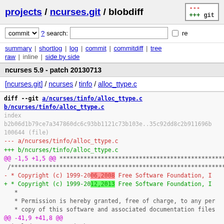projects / ncurses.git / blobdiff
commit ? search: re
summary | shortlog | log | commit | commitdiff | tree
raw | inline | side by side
ncurses 5.9 - patch 20130713
[ncurses.git] / ncurses / tinfo / alloc_ttype.c
diff --git a/ncurses/tinfo/alloc_ttype.c b/ncurses/tinfo/alloc_ttype.c
index b2b06d1b79ce7a347860dc6c93bb1121c73b103e..35c92dd8c2b911696b
100644 (file)
--- a/ncurses/tinfo/alloc_ttype.c
+++ b/ncurses/tinfo/alloc_ttype.c
@@ -1,5 +1,5 @@
 /****
- * Copyright (c) 1999-2006,2008 Free Software Foundation, I
+ * Copyright (c) 1999-2012,2013 Free Software Foundation, I
   *
   * Permission is hereby granted, free of charge, to any per
   * copy of this software and associated documentation files
@@ -41,9 +41,8 @@
  #include <curses.priv.h>